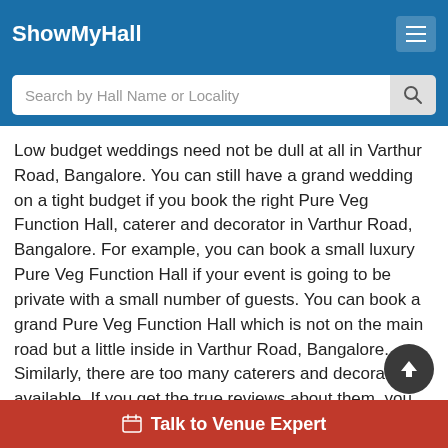ShowMyHall
[Figure (screenshot): Search bar with placeholder text 'Search by Hall Name or Locality' and a search button]
Low budget weddings need not be dull at all in Varthur Road, Bangalore. You can still have a grand wedding on a tight budget if you book the right Pure Veg Function Hall, caterer and decorator in Varthur Road, Bangalore. For example, you can book a small luxury Pure Veg Function Hall if your event is going to be private with a small number of guests. You can book a grand Pure Veg Function Hall which is not on the main road but a little inside in Varthur Road, Bangalore. Similarly, there are too many caterers and decorators available. If you get the true reviews about them, you can easily zero in on the right one for your event at Pure Veg Function Hall in Varthur Road, Bangalore without spending a fortune.
What facilities do the best Pure Veg Function Ha...
Talk to Venue Expert